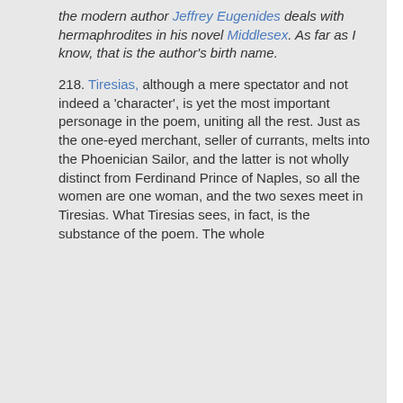the modern author Jeffrey Eugenides deals with hermaphrodites in his novel Middlesex. As far as I know, that is the author's birth name.
218. Tiresias, although a mere spectator and not indeed a 'character', is yet the most important personage in the poem, uniting all the rest. Just as the one-eyed merchant, seller of currants, melts into the Phoenician Sailor, and the latter is not wholly distinct from Ferdinand Prince of Naples, so all the women are one woman, and the two sexes meet in Tiresias. What Tiresias sees, in fact, is the substance of the poem. The whole